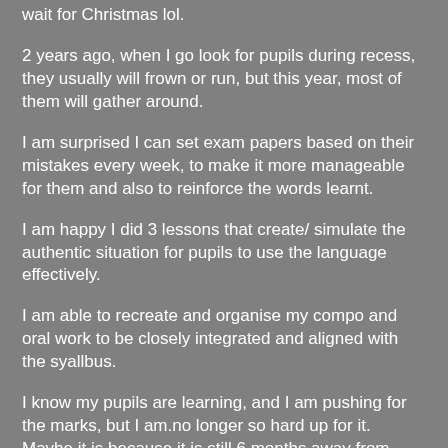wait for Christmas lol.
2 years ago, when I go look for pupils during recess, they usually will frown or run, but this year, most of them will gather around.
I am surprised I can set exam papers based on their mistakes every week, to make it more manageable for them and also to reinforce the words learnt.
I am happy I did 3 lessons that create/ simulate the authentic situation for pupils to use the language effectively.
I am able to recreate and organise my compo and oral work to be closely integrated and aligned with the syallbus.
I know my pupils are learning, and I am pushing for the marks, but I am.no longer so hard up for it. Maybe it is because it is still 6 months away from PSLE.
I remember seeing the gratitude in the eyes of pupil who score 18 out of 70, when I say I see how hard she work, and